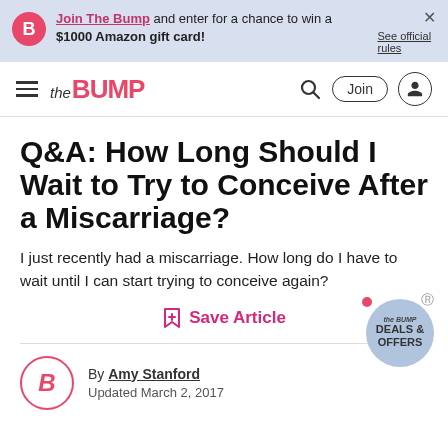Join The Bump and enter for a chance to win a $1000 Amazon gift card! See official rules
the BUMP — navigation bar with search, Join, and user icon
Q&A: How Long Should I Wait to Try to Conceive After a Miscarriage?
I just recently had a miscarriage. How long do I have to wait until I can start trying to conceive again?
Save Article
By Amy Stanford
Updated March 2, 2017